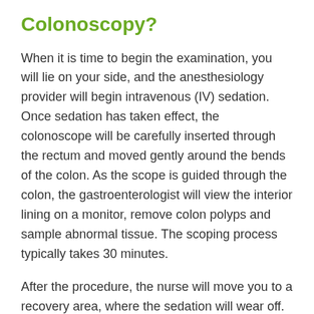Colonoscopy?
When it is time to begin the examination, you will lie on your side, and the anesthesiology provider will begin intravenous (IV) sedation. Once sedation has taken effect, the colonoscope will be carefully inserted through the rectum and moved gently around the bends of the colon. As the scope is guided through the colon, the gastroenterologist will view the interior lining on a monitor, remove colon polyps and sample abnormal tissue. The scoping process typically takes 30 minutes.
After the procedure, the nurse will move you to a recovery area, where the sedation will wear off. The gastroenterologist will then visit you to discuss your procedure and immediate